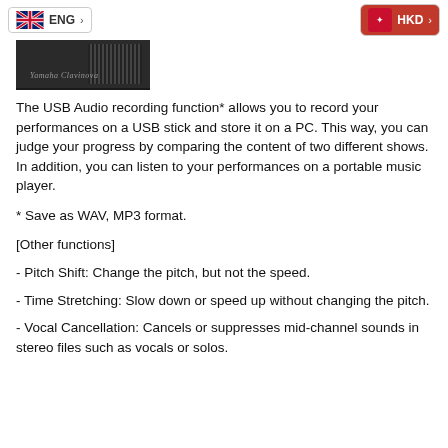ENG | HKD
[Figure (photo): Yamaha Clavinova digital piano partial view, dark casing with speaker grille]
The USB Audio recording function* allows you to record your performances on a USB stick and store it on a PC. This way, you can judge your progress by comparing the content of two different shows. In addition, you can listen to your performances on a portable music player.
* Save as WAV, MP3 format.
[Other functions]
- Pitch Shift: Change the pitch, but not the speed.
- Time Stretching: Slow down or speed up without changing the pitch.
- Vocal Cancellation: Cancels or suppresses mid-channel sounds in stereo files such as vocals or solos.